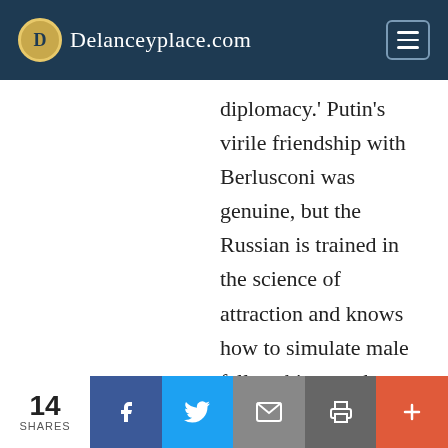Delanceyplace.com
diplomacy.' Putin's virile friendship with Berlusconi was genuine, but the Russian is trained in the science of attraction and knows how to simulate male fellowship, as when he walked hand in hand with Modi for the cameras in Saint Petersburg in June 2017. Trump bonded with Orbán as they sat together at the White House in 2019, their craggy
14 SHARES | Facebook | Twitter | Email | Print | More